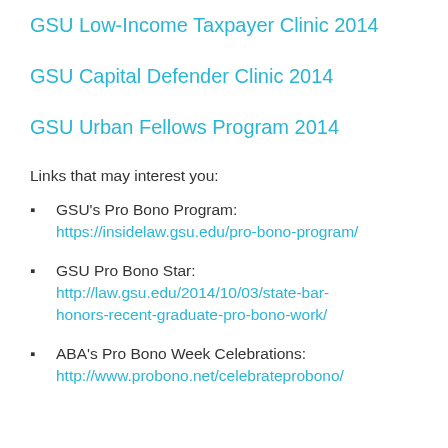GSU Low-Income Taxpayer Clinic 2014
GSU Capital Defender Clinic 2014
GSU Urban Fellows Program 2014
Links that may interest you:
GSU's Pro Bono Program: https://insidelaw.gsu.edu/pro-bono-program/
GSU Pro Bono Star: http://law.gsu.edu/2014/10/03/state-bar-honors-recent-graduate-pro-bono-work/
ABA's Pro Bono Week Celebrations: http://www.probono.net/celebrateprobono/